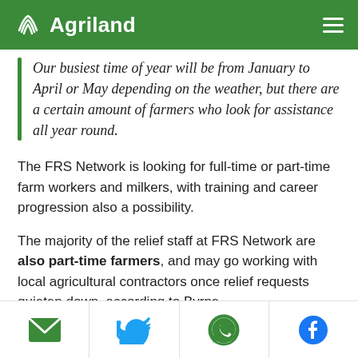Agriland
Our busiest time of year will be from January to April or May depending on the weather, but there are a certain amount of farmers who look for assistance all year round.
The FRS Network is looking for full-time or part-time farm workers and milkers, with training and career progression also a possibility.
The majority of the relief staff at FRS Network are also part-time farmers, and may go working with local agricultural contractors once relief requests quieten down, according to Byrne.
Email | Twitter | WhatsApp | Facebook